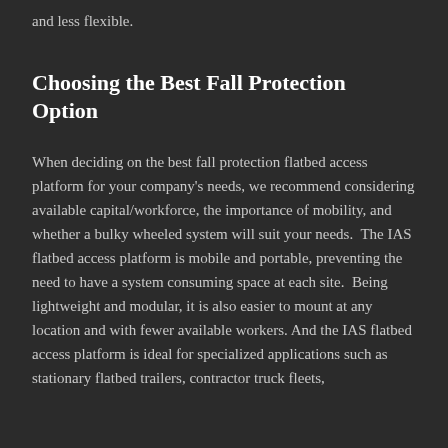and less flexible.
Choosing the Best Fall Protection Option
When deciding on the best fall protection flatbed access platform for your company's needs, we recommend considering available capital/workforce, the importance of mobility, and whether a bulky wheeled system will suit your needs.  The IAS flatbed access platform is mobile and portable, preventing the need to have a system consuming space at each site.  Being lightweight and modular, it is also easier to mount at any location and with fewer available workers. And the IAS flatbed access platform is ideal for specialized applications such as stationary flatbed trailers, contractor truck fleets,